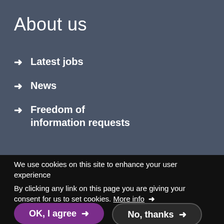About us
Latest jobs
News
Freedom of information requests
We use cookies on this site to enhance your user experience
By clicking any link on this page you are giving your consent for us to set cookies. More info →
OK, I agree →
No, thanks →